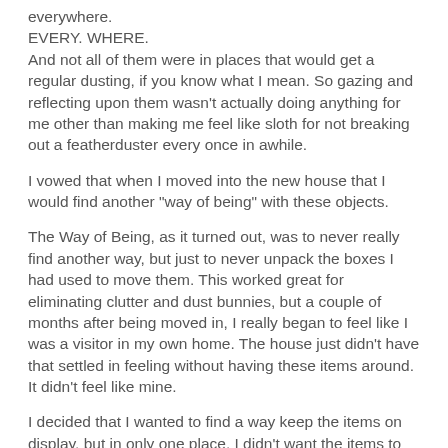everywhere.
EVERY. WHERE.
And not all of them were in places that would get a regular dusting, if you know what I mean. So gazing and reflecting upon them wasn't actually doing anything for me other than making me feel like sloth for not breaking out a featherduster every once in awhile.
I vowed that when I moved into the new house that I would find another "way of being" with these objects.
The Way of Being, as it turned out, was to never really find another way, but just to never unpack the boxes I had used to move them. This worked great for eliminating clutter and dust bunnies, but a couple of months after being moved in, I really began to feel like I was a visitor in my own home. The house just didn't have that settled in feeling without having these items around. It didn't feel like mine.
I decided that I wanted to find a way keep the items on display, but in only one place. I didn't want the items to be strewn about the house again, but I wanted it to look more